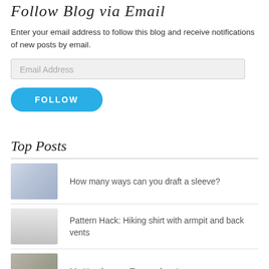Follow Blog via Email
Enter your email address to follow this blog and receive notifications of new posts by email.
Email Address
FOLLOW
Top Posts
How many ways can you draft a sleeve?
Pattern Hack: Hiking shirt with armpit and back vents
My Handwoven Top .... done!